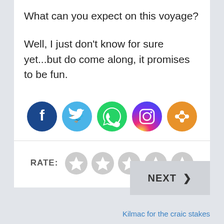What can you expect on this voyage?
Well, I just don't know for sure yet...but do come along, it promises to be fun.
[Figure (infographic): Five social media share buttons in circles: Facebook (dark blue), Twitter (light blue), WhatsApp (green), Instagram (gradient purple-pink-orange), Share/More (orange)]
RATE:
[Figure (infographic): Five grey star rating icons]
NEXT >
Kilmac for the craic stakes